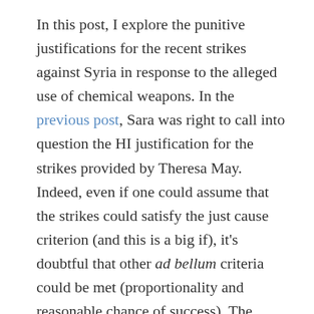In this post, I explore the punitive justifications for the recent strikes against Syria in response to the alleged use of chemical weapons. In the previous post, Sara was right to call into question the HI justification for the strikes provided by Theresa May. Indeed, even if one could assume that the strikes could satisfy the just cause criterion (and this is a big if), it's doubtful that other ad bellum criteria could be met (proportionality and reasonable chance of success). The situation is Syria is complicated with multiple parties involved, either directly or through proxy. It is, therefore, difficult to determine what success would mean in this context and, correspondingly, what would be counted as proportionate force. I think Sara is right that the strikes